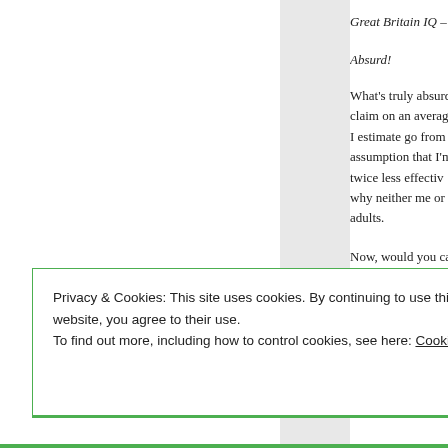Great Britain IQ – 1…
Absurd!
What's truly absurd claim on an average I estimate go from assumption that I'm twice less effective why neither me or adults.
Now, would you ca anomalous to you,
But the two are cor…
Privacy & Cookies: This site uses cookies. By continuing to use this website, you agree to their use.
To find out more, including how to control cookies, see here: Cookie Policy
Close and accept